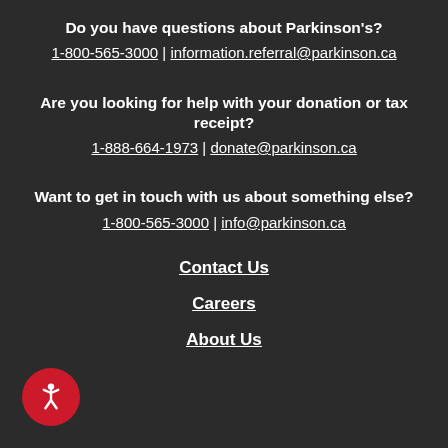Do you have questions about Parkinson's?
1-800-565-3000 | information.referral@parkinson.ca
Are you looking for help with your donation or tax receipt?
1-888-664-1973 | donate@parkinson.ca
Want to get in touch with us about something else?
1-800-565-3000 | info@parkinson.ca
Contact Us
Careers
About Us
[Figure (illustration): Red circular accessibility icon with white person figure]